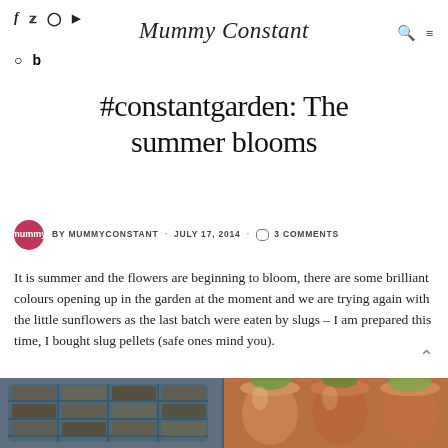Mummy Constant
BY MUMMYCONSTANT · JULY 17, 2014 · 3 COMMENTS
#constantgarden: The summer blooms
It is summer and the flowers are beginning to bloom, there are some brilliant colours opening up in the garden at the moment and we are trying again with the little sunflowers as the last batch were eaten by slugs – I am prepared this time, I bought slug pellets (safe ones mind you).
[Figure (photo): Two photos of garden: left shows a seed tray with soil and seedlings, right shows terracotta flower pots in warm orange tones with greenery]